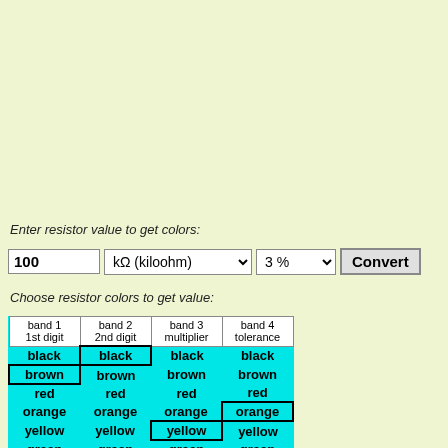Enter resistor value to get colors:
[Figure (screenshot): Input form with value 100, unit dropdown kΩ (kiloohm), tolerance dropdown 3%, and Convert button]
Choose resistor colors to get value:
| band 1
1st digit | band 2
2nd digit | band 3
multiplier | band 4
tolerance |
| --- | --- | --- | --- |
| black | black | black | black |
| brown | brown | brown | brown |
| red | red | red | red |
| orange | orange | orange | orange |
| yellow | yellow | yellow | yellow |
| green | green | green | green |
| blue | blue | blue | blue |